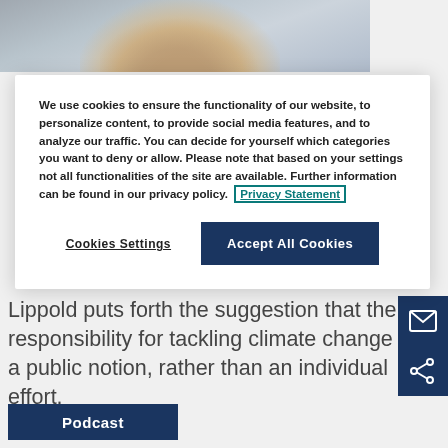[Figure (photo): Partial photo of a smiling person with long brown hair against a metallic/foil background, cropped at the top of the page]
We use cookies to ensure the functionality of our website, to personalize content, to provide social media features, and to analyze our traffic. You can decide for yourself which categories you want to deny or allow. Please note that based on your settings not all functionalities of the site are available. Further information can be found in our privacy policy. Privacy Statement
Cookies Settings
Accept All Cookies
Lippold puts forth the suggestion that the responsibility for tackling climate change is a public notion, rather than an individual effort.
Podcast